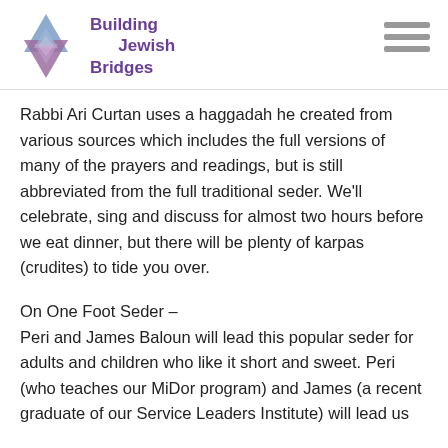Building Jewish Bridges
Rabbi Ari Curtan uses a haggadah he created from various sources which includes the full versions of many of the prayers and readings, but is still abbreviated from the full traditional seder. We'll celebrate, sing and discuss for almost two hours before we eat dinner, but there will be plenty of karpas (crudites) to tide you over.
On One Foot Seder –
Peri and James Baloun will lead this popular seder for adults and children who like it short and sweet. Peri (who teaches our MiDor program) and James (a recent graduate of our Service Leaders Institute) will lead us